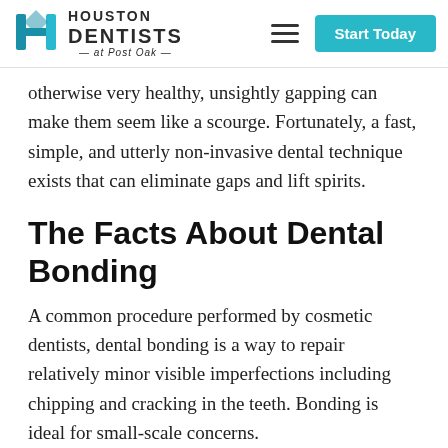Houston Dentists at Post Oak — Start Today
otherwise very healthy, unsightly gapping can make them seem like a scourge. Fortunately, a fast, simple, and utterly non-invasive dental technique exists that can eliminate gaps and lift spirits.
The Facts About Dental Bonding
A common procedure performed by cosmetic dentists, dental bonding is a way to repair relatively minor visible imperfections including chipping and cracking in the teeth. Bonding is ideal for small-scale concerns.
One of the main advantages of dental bonding is the fact that it can be applied right to the affected area in a convenient, one-time appointment. There is no